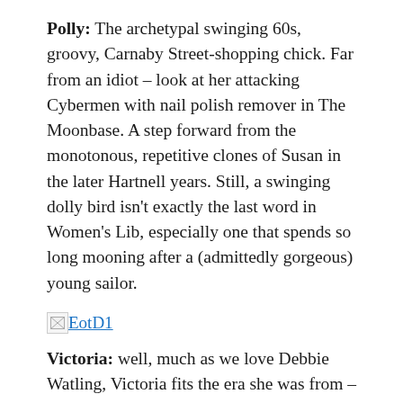Polly: The archetypal swinging 60s, groovy, Carnaby Street-shopping chick. Far from an idiot – look at her attacking Cybermen with nail polish remover in The Moonbase. A step forward from the monotonous, repetitive clones of Susan in the later Hartnell years. Still, a swinging dolly bird isn't exactly the last word in Women's Lib, especially one that spends so long mooning after a (admittedly gorgeous) young sailor.
[Figure (other): Broken image placeholder link labeled EotD1]
Victoria: well, much as we love Debbie Watling, Victoria fits the era she was from – prim,